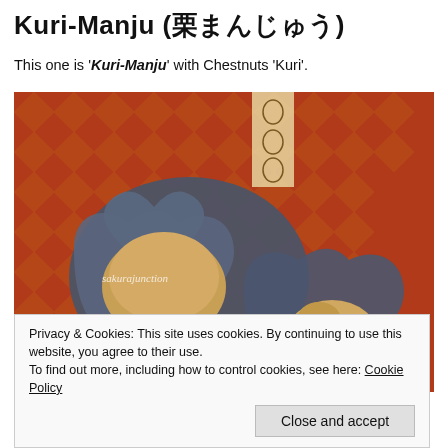Kuri-Manju (栗まんじゅう)
This one is 'Kuri-Manju' with Chestnuts 'Kuri'.
[Figure (photo): Two chestnut manju (Japanese sweets) placed on heart-shaped dark slate plates on a red patterned fabric background. The sweets are golden-brown with sesame seeds on the bottom. Watermark reads 'sakurajunction'.]
Privacy & Cookies: This site uses cookies. By continuing to use this website, you agree to their use.
To find out more, including how to control cookies, see here: Cookie Policy
Close and accept